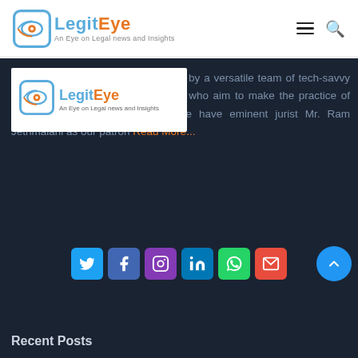LegitEye – An Eye on Legal news and insights
[Figure (logo): LegitEye logo watermark overlaid on dark background content area]
LegitEye is a legal tech venture run by a versatile team of tech-savvy attorneys, engineers and designers who aim to make the practice of law simpler for its end users. We have eminent jurist Mr. Ram Jethmalani as our patron Read More...
[Figure (infographic): Social media icons row: Twitter (blue), Facebook (purple-blue), Instagram (purple), LinkedIn (blue), WhatsApp (green), Email (red)]
Recent Posts